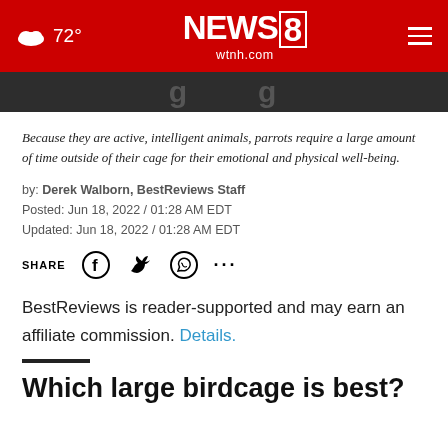72° NEWS 8 wtnh.com
[Figure (screenshot): Dark strip with partial large text visible, appears to be part of an article header image]
Because they are active, intelligent animals, parrots require a large amount of time outside of their cage for their emotional and physical well-being.
by: Derek Walborn, BestReviews Staff
Posted: Jun 18, 2022 / 01:28 AM EDT
Updated: Jun 18, 2022 / 01:28 AM EDT
SHARE [Facebook] [Twitter] [WhatsApp] ...
BestReviews is reader-supported and may earn an affiliate commission. Details.
Which large birdcage is best?